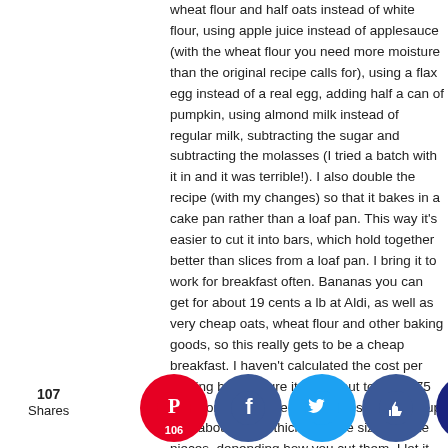wheat flour and half oats instead of white flour, using apple juice instead of applesauce (with the wheat flour you need more moisture than the original recipe calls for), using a flax egg instead of a real egg, adding half a can of pumpkin, using almond milk instead of regular milk, subtracting the sugar and subtracting the molasses (I tried a batch with it in and it was terrible!). I also double the recipe (with my changes) so that it bakes in a cake pan rather than a loaf pan. This way it's easier to cut it into bars, which hold together better than slices from a loaf pan. I bring it to work for breakfast often. Bananas you can get for about 19 cents a lb at Aldi, as well as very cheap oats, wheat flour and other baking goods, so this really gets to be a cheap breakfast. I haven't calculated the cost per serving but I'm sure it works out to about 75 cents or so...maybe less because you end up with about 12-15 thick bars the size of cake pieces, depending how you cut them. I let it cool for about 2 hours on the counter once baked, then slice into the bars and package them in sandwich bags individually, and then throw into a big bowl in the fridge. Actually considering you get your fiber in there, you don't need anything on the side or nutrition, its pretty filling as well.
107 Shares